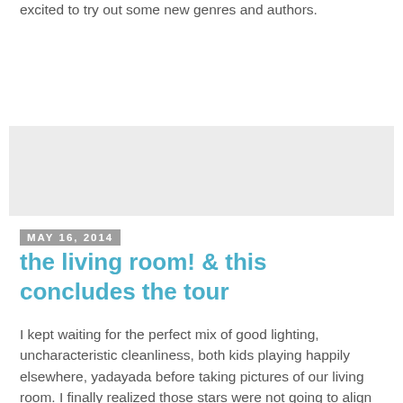excited to try out some new genres and authors.
[Figure (other): Gray advertisement or placeholder box]
May 16, 2014
the living room! & this concludes the tour
I kept waiting for the perfect mix of good lighting, uncharacteristic cleanliness, both kids playing happily elsewhere, yadayada before taking pictures of our living room. I finally realized those stars were not going to align on their own so I pushed the piles of Legos aside, put Ev down for a nap, made B play at the table (instead of on the pink cabinet ... ) and snappity snap.